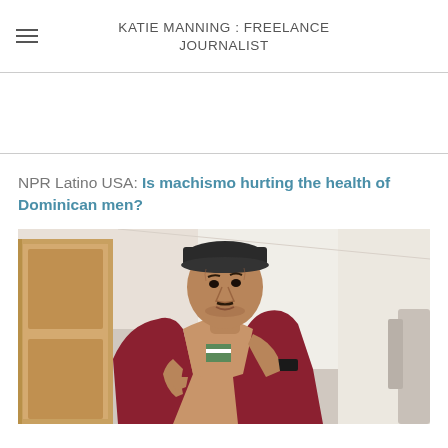KATIE MANNING : FREELANCE JOURNALIST
NPR Latino USA: Is machismo hurting the health of Dominican men?
[Figure (photo): An elderly Dominican man pulling open his shirt to reveal his torso, wearing a dark cap and maroon jacket, photographed in an interior setting with a wooden door visible on the left.]